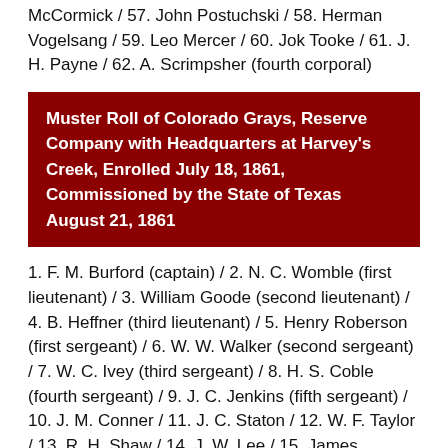McCormick / 57. John Postuchski / 58. Herman Vogelsang / 59. Leo Mercer / 60. Jok Tooke / 61. J. H. Payne / 62. A. Scrimpsher (fourth corporal)
Muster Roll of Colorado Grays, Reserve Company with Headquarters at Harvey's Creek, Enrolled July 18, 1861, Commissioned by the State of Texas August 21, 1861
1. F. M. Burford (captain) / 2. N. C. Womble (first lieutenant) / 3. William Goode (second lieutenant) / 4. B. Heffner (third lieutenant) / 5. Henry Roberson (first sergeant) / 6. W. W. Walker (second sergeant) / 7. W. C. Ivey (third sergeant) / 8. H. S. Coble (fourth sergeant) / 9. J. C. Jenkins (fifth sergeant) / 10. J. M. Conner / 11. J. C. Staton / 12. W. F. Taylor / 13. R. H. Shaw / 14. J. W. Lee / 15. James McMillon / 16. W. N. Danzy / 17. C. York / 18. H. Putnum / 19. M. B. Burch / 20. D. G. Smith / 21. William Stapleton / 22. John Stapleton / 23. J. W. Wright / 24. S. A. Spinks /